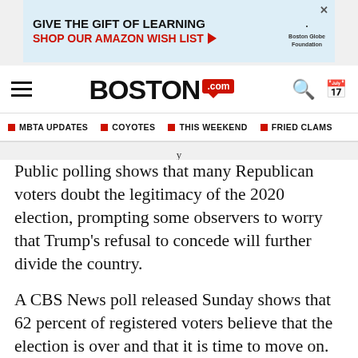[Figure (other): Advertisement banner: GIVE THE GIFT OF LEARNING / SHOP OUR AMAZON WISH LIST with arrow, Boston Globe Foundation logo]
Boston.com navigation header with hamburger menu, Boston.com logo, search and calendar icons
MBTA UPDATES | COYOTES | THIS WEEKEND | FRIED CLAMS
Public polling shows that many Republican voters doubt the legitimacy of the 2020 election, prompting some observers to worry that Trump's refusal to concede will further divide the country.
A CBS News poll released Sunday shows that 62 percent of registered voters believe that the election is over and that it is time to move on.
But, notably, 75 percent of Republicans said that they believe the election is not over and that it